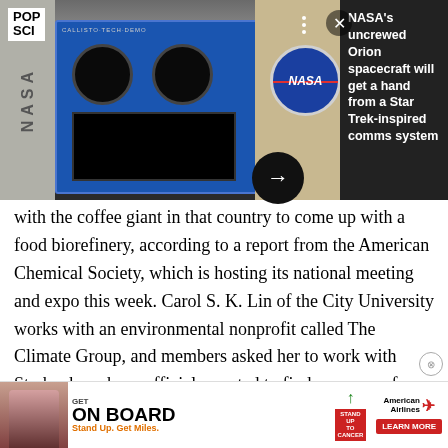[Figure (photo): NASA Callisto Tech Demo equipment on ISS, blue box with circular ports and screen, NASA logo visible, with a person partially visible at top left. Right side shows dark overlay with headline text.]
NASA's uncrewed Orion spacecraft will get a hand from a Star Trek-inspired comms system
with the coffee giant in that country to come up with a food biorefinery, according to a report from the American Chemical Society, which is hosting its national meeting and expo this week. Carol S. K. Lin of the City University works with an environmental nonprofit called The Climate Group, and members asked her to work with Starbucks, whose officials wanted to find a new use for its food waste. Lin has developed other biorefinery technology in past research... the university...
[Figure (photo): Advertisement banner: GET ON BOARD - Stand Up. Get Miles. American Airlines, Stand Up To Cancer, LEARN MORE]